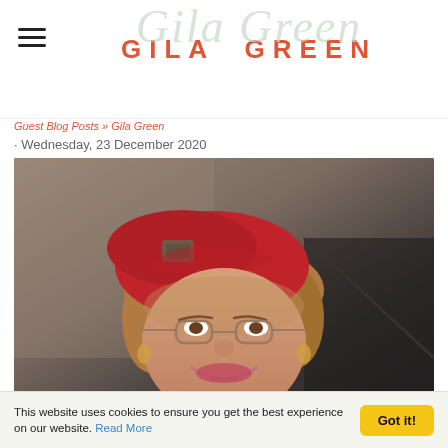Gila Green / GILA GREEN
Guest Blog Posts » Gila Green · Wednesday, 23 December 2020
[Figure (photo): Woman with red beret and glasses smiling]
This website uses cookies to ensure you get the best experience on our website. Read More  Got it!